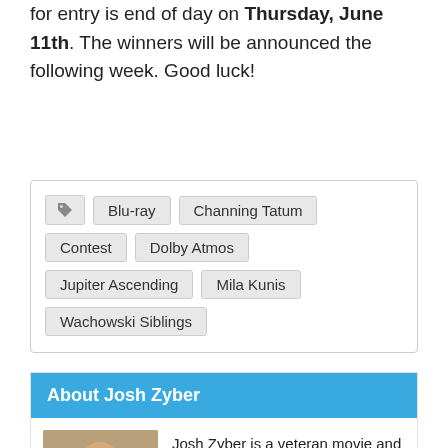for entry is end of day on Thursday, June 11th. The winners will be announced the following week. Good luck!
Tags: Blu-ray, Channing Tatum, Contest, Dolby Atmos, Jupiter Ascending, Mila Kunis, Wachowski Siblings
About Josh Zyber
[Figure (photo): Portrait photo of Josh Zyber, a man with a beard]
Josh Zyber is a veteran movie and video disc reviewer from Laserdisc to DVD and beyond. He previously wrote for DVDFile.com, DVDTalk.com, and Home Theater